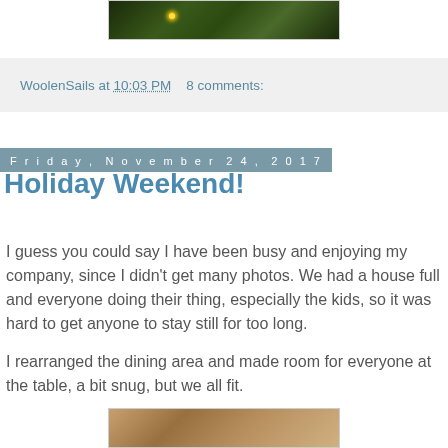[Figure (photo): Top portion of a photo showing Christmas/holiday greenery with lights against a dark background]
WoolenSails at 10:03 PM    8 comments:
Friday, November 24, 2017
Holiday Weekend!
I guess you could say I have been busy and enjoying my company, since I didn't get many photos. We had a house full and everyone doing their thing, especially the kids, so it was hard to get anyone to stay still for too long.
I rearranged the dining area and made room for everyone at the table, a bit snug, but we all fit.
[Figure (photo): Bottom portion of a photo showing an interior dining area with a ceiling fan visible]